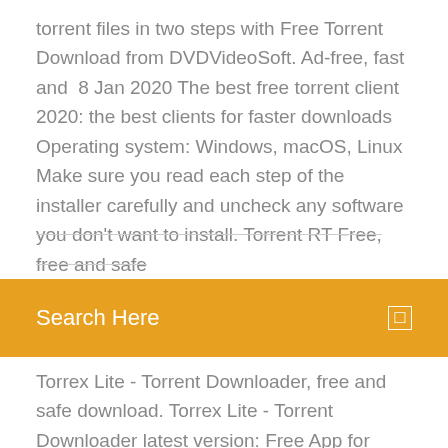torrent files in two steps with Free Torrent Download from DVDVideoSoft. Ad-free, fast and  8 Jan 2020 The best free torrent client 2020: the best clients for faster downloads Operating system: Windows, macOS, Linux Make sure you read each step of the installer carefully and uncheck any software you don't want to install. Torrent RT Free, free and safe
[Figure (screenshot): Orange search bar with 'Search Here' text and a small square icon on the right]
Torrex Lite - Torrent Downloader, free and safe download. Torrex Lite - Torrent Downloader latest version: Free App for Torrent Lovers. Torrex Lite - Torrent  This is an online installer that will download μTorrent during setup Portable can run from a cloud folder, external drive, or local folder without installing into Windows. Unlike many torrent clients, it does not hog valuable system resources.
pspice - Free download as Text File (.txt), PDF File (.pdf) or read online for free. paper